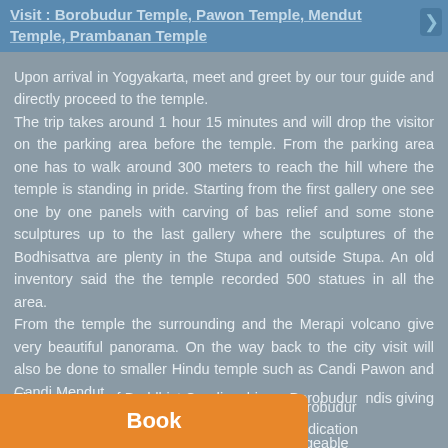Visit : Borobudur Temple, Pawon Temple, Mendut Temple, Prambanan Temple
Upon arrival in Yogyakarta, meet and greet by our tour guide and directly proceed to the temple.
The trip takes around 1 hour 15 minutes and will drop the visitor on the parking area before the temple. From the parking area one has to walk around 300 meters to reach the hill where the temple is standing in pride. Starting from the first gallery one see one by one panels with carving of bas relief and some stone sculptures up to the last gallery where the sculptures of the Bodhisattva are plenty in the Stupa and outside Stupa. An old inventory said the the temple recorded 500 statues in all the area.
From the temple the surrounding and the Merapi volcano give very beautiful panorama. On the way back to the city visit will also be done to smaller Hindu temple such as Candi Pawon and Candi Mendut.
The existence of Buddhist Candi as big as Borobudur and other candis giving and indication that in the past the people were very knowledgeable